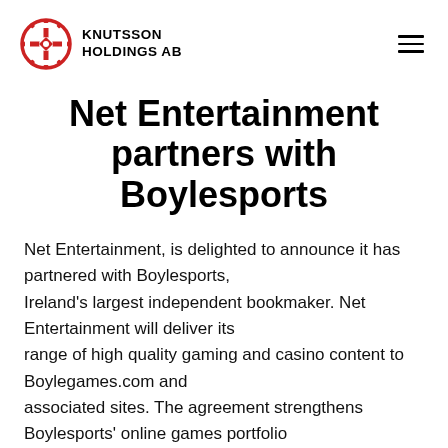KNUTSSON HOLDINGS AB
Net Entertainment partners with Boylesports
Net Entertainment, is delighted to announce it has partnered with Boylesports, Ireland's largest independent bookmaker. Net Entertainment will deliver its range of high quality gaming and casino content to Boylegames.com and associated sites. The agreement strengthens Boylesports' online games portfolio and provides the Boylegames.com brand with some of the best of breed online and